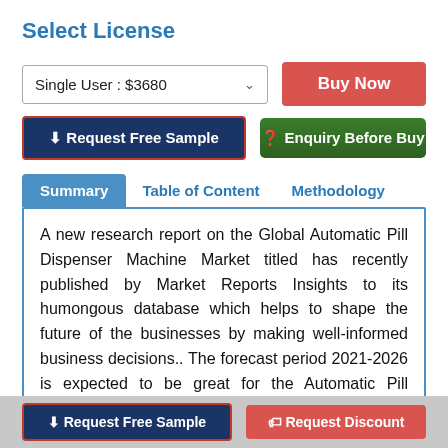Select License
Single User : $3680
Buy Now
⬇ Request Free Sample
❓ Enquiry Before Buy
Summary   Table of Content   Methodology
A new research report on the Global Automatic Pill Dispenser Machine Market titled has recently published by Market Reports Insights to its humongous database which helps to shape the future of the businesses by making well-informed business decisions.. The forecast period 2021-2026 is expected to be great for the Automatic Pill Dispenser Machine market which will be
⬇ Request Free Sample
🏷 Request Discount